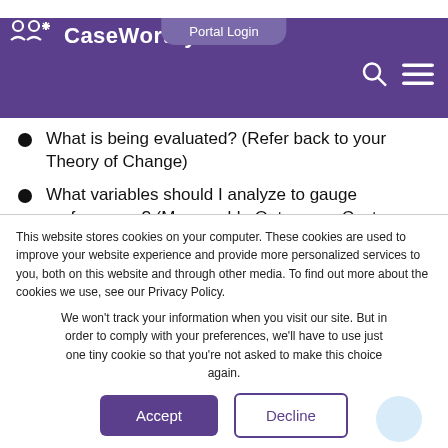Portal Login | CaseWorthy
What is being evaluated? (Refer back to your Theory of Change)
What variables should I analyze to gauge performance? (Measurable Outcomes, Costs, Efficiency, Attribution of Success)
What evidence will I use to demonstrate how well
This website stores cookies on your computer. These cookies are used to improve your website experience and provide more personalized services to you, both on this website and through other media. To find out more about the cookies we use, see our Privacy Policy.
We won't track your information when you visit our site. But in order to comply with your preferences, we'll have to use just one tiny cookie so that you're not asked to make this choice again.